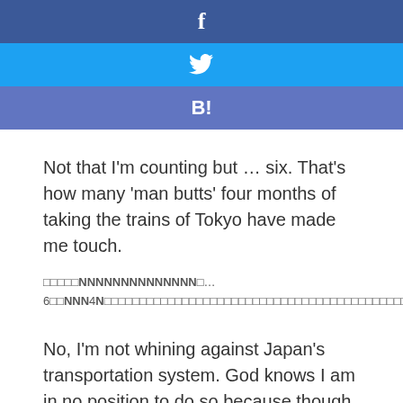[Figure (infographic): Social share buttons: Facebook (dark blue, F icon), Twitter (light blue, bird icon), Hatena Bookmark (purple-blue, B! icon)]
Not that I'm counting but … six. That's how many 'man butts' four months of taking the trains of Tokyo have made me touch.
□□□□□NN□□□□□□□□□□□□… 6□□NNN4N□□□□□□□□□□□□□□□□□□□□□□□□□□□□□□□□□□□□□
No, I'm not whining against Japan's transportation system. God knows I am in no position to do so because though I would forever bask in the comfort of Cebu's snug